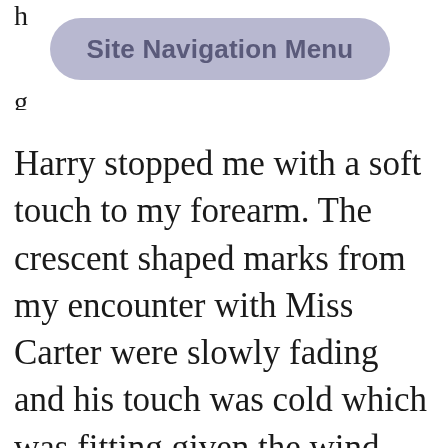Site Navigation Menu
Harry stopped me with a soft touch to my forearm. The crescent shaped marks from my encounter with Miss Carter were slowly fading and his touch was cold which was fitting given the wind blown weather. Chilled and disturbed at being touched again I slowed